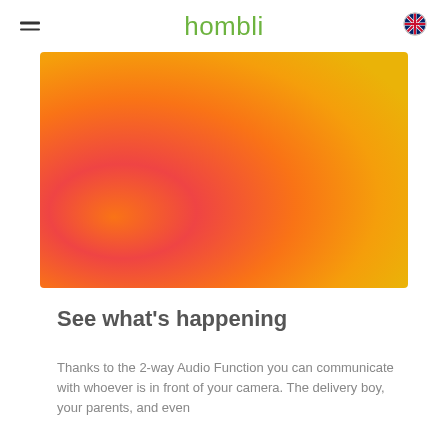hombli
[Figure (illustration): Orange-to-yellow gradient rectangular hero image with radial gradient blending from red-orange on the left to golden yellow on the right]
See what's happening
Thanks to the 2-way Audio Function you can communicate with whoever is in front of your camera. The delivery boy, your parents, and even